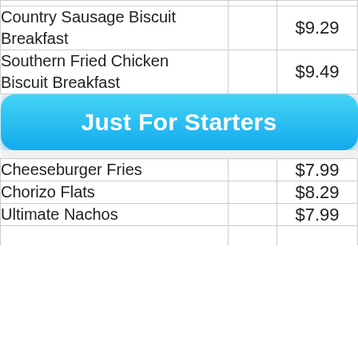| Country Sausage Biscuit Breakfast |  | $9.29 |
| Southern Fried Chicken Biscuit Breakfast |  | $9.49 |
Just For Starters
| Cheeseburger Fries |  | $7.99 |
| Chorizo Flats |  | $8.29 |
| Ultimate Nachos |  | $7.99 |